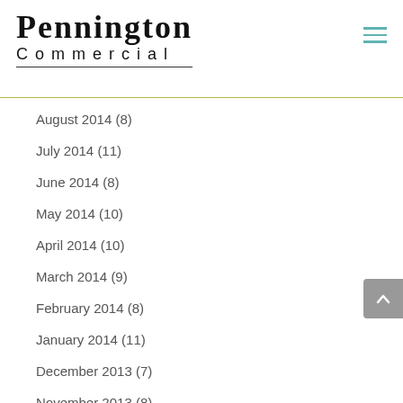[Figure (logo): Pennington Commercial logo with large serif PENNINGTON text above smaller spaced COMMERCIAL text with underline]
August 2014 (8)
July 2014 (11)
June 2014 (8)
May 2014 (10)
April 2014 (10)
March 2014 (9)
February 2014 (8)
January 2014 (11)
December 2013 (7)
November 2013 (8)